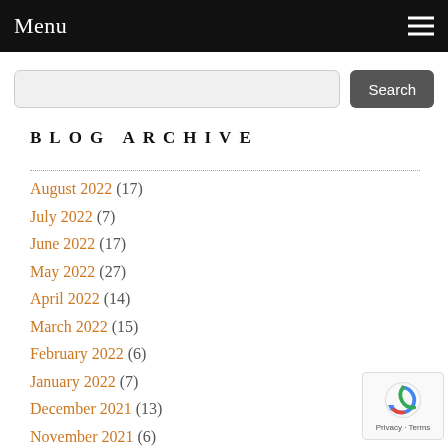Menu
August 2022 (17)
July 2022 (7)
June 2022 (17)
May 2022 (27)
April 2022 (14)
March 2022 (15)
February 2022 (6)
January 2022 (7)
December 2021 (13)
November 2021 (6)
October 2021 (20)
September 2021 (10)